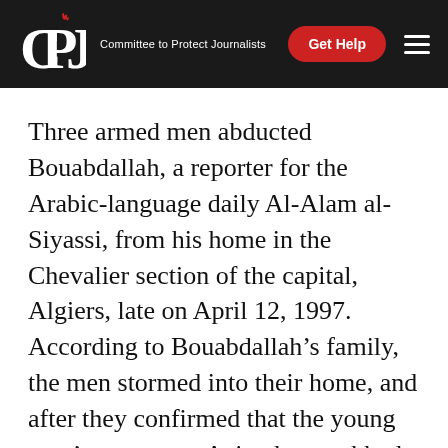CPJ | Committee to Protect Journalists
Three armed men abducted Bouabdallah, a reporter for the Arabic-language daily Al-Alam al-Siyassi, from his home in the Chevalier section of the capital, Algiers, late on April 12, 1997. According to Bouabdallah's family, the men stormed into their home, and after they confirmed that the young man's name was Aziz, they grabbed him, put his hands behind his back, and pushed him out the door and into a waiting